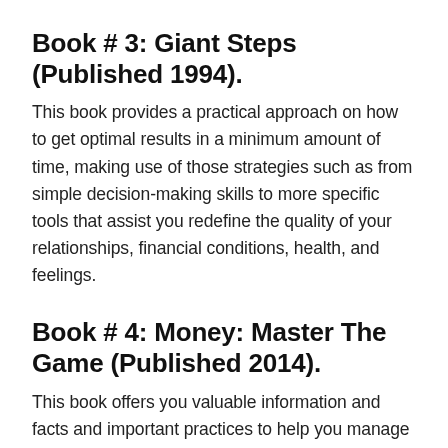Book # 3: Giant Steps (Published 1994).
This book provides a practical approach on how to get optimal results in a minimum amount of time, making use of those strategies such as from simple decision-making skills to more specific tools that assist you redefine the quality of your relationships, financial conditions, health, and feelings.
Book # 4: Money: Master The Game (Published 2014).
This book offers you valuable information and facts and important practices to help you manage your finances, and build a monetary home in the long term.